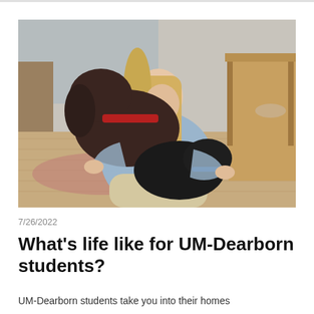[Figure (photo): A person with long blonde hair sitting on a hardwood floor indoors, hugging two dark-colored dogs (one chocolate/dark brown with a red harness, one black). Wooden furniture and a rug are visible in the background.]
7/26/2022
What's life like for UM-Dearborn students?
UM-Dearborn students take you into their homes